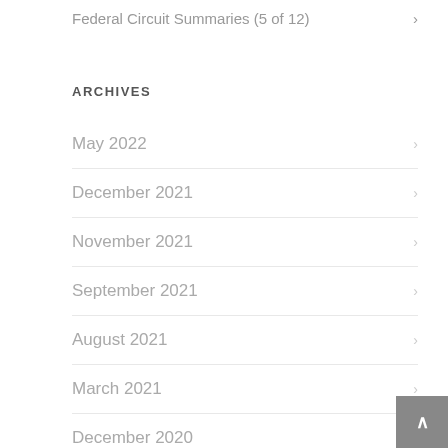Federal Circuit Summaries (5 of 12)
ARCHIVES
May 2022
December 2021
November 2021
September 2021
August 2021
March 2021
December 2020